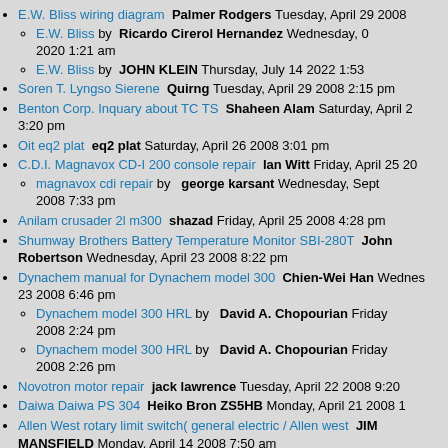E.W. Bliss wiring diagram  Palmer Rodgers Tuesday, April 29 2008
E.W. Bliss by  Ricardo Cirerol Hernandez Wednesday, 2020 1:21 am
E.W. Bliss by  JOHN KLEIN Thursday, July 14 2022 1:53
Soren T. Lyngso Sierene  Quirng Tuesday, April 29 2008 2:15 pm
Benton Corp. Inquary about TC TS  Shaheen Alam Saturday, April 2 3:20 pm
Oit eq2 plat  eq2 plat Saturday, April 26 2008 3:01 pm
C.D.I. Magnavox CD-I 200 console repair  Ian Witt Friday, April 25 20
magnavox cdi repair by  george karsant Wednesday, September 2008 7:33 pm
Anilam crusader 2l m300  shazad Friday, April 25 2008 4:28 pm
Shumway Brothers Battery Temperature Monitor SBI-280T  John Robertson Wednesday, April 23 2008 8:22 pm
Dynachem manual for Dynachem model 300  Chien-Wei Han Wednesday 23 2008 6:46 pm
Dynachem model 300 HRL by  David A. Chopourian Friday 2008 2:24 pm
Dynachem model 300 HRL by  David A. Chopourian Friday 2008 2:26 pm
Novotron motor repair  jack lawrence Tuesday, April 22 2008 9:20
Daiwa Daiwa PS 304  Heiko Bron ZS5HB Monday, April 21 2008
Allen West rotary limit switch( general electric / Allen west  JIM MANSFIELD Monday, April 14 2008 7:50 am
Datron Parts  Dave Chopourian Sunday, April 13 pm
datron stepper motor by  pat gamble Tuesday 7 2 pm
Sandra Mulstens Thursday